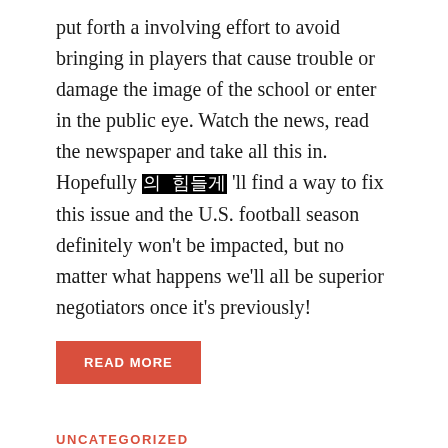put forth a involving effort to avoid bringing in players that cause trouble or damage the image of the school or enter in the public eye. Watch the news, read the newspaper and take all this in. Hopefully 의 힘들게 'll find a way to fix this issue and the U.S. football season definitely won't be impacted, but no matter what happens we'll all be superior negotiators once it's previously!
READ MORE
UNCATEGORIZED
Information On Couples Restorative Massage
August 29, 2022  -  by Johnny
Every on occasion people get tired from doing plenty of work. To get why they require to relax for some time. And